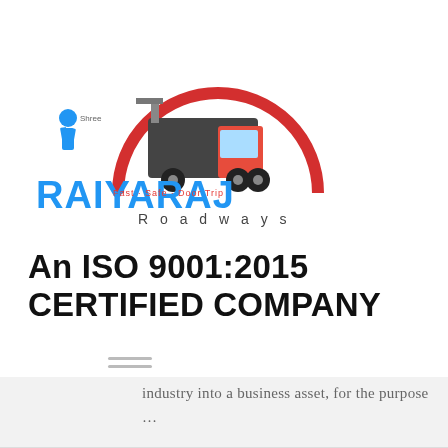[Figure (logo): Shree Raiyaraj Roadways logo with a truck inside a red arch, text 'Fast Safe Door Trip', 'Roadways', and tagline 'Transporting is the next future']
An ISO 9001:2015 CERTIFIED COMPANY
industry into a business asset, for the purpose …
Risk Management
$70
Banks, insurance firms & capital markets are now facing extremely dramatic challenges related to